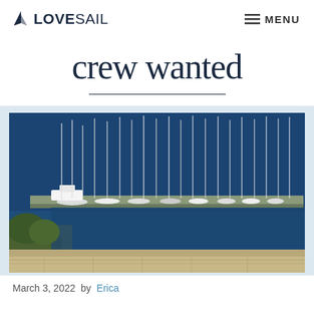LOVESAIL   MENU
crew wanted
[Figure (photo): Aerial view of a marina with many sailboats moored at a dock, with deep blue water and stone fortification walls in the foreground]
March 3, 2022  by  Erica